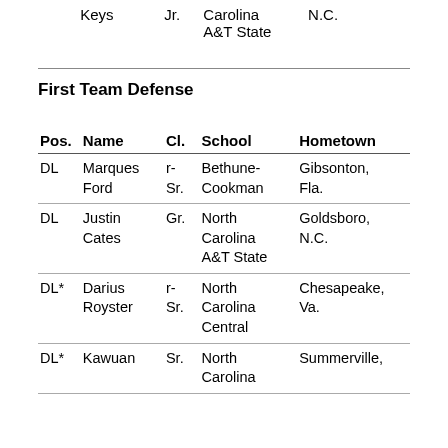|  | Keys | Jr. | Carolina A&T State | N.C. |
| --- | --- | --- | --- | --- |
First Team Defense
| Pos. | Name | Cl. | School | Hometown |
| --- | --- | --- | --- | --- |
| DL | Marques Ford | r-Sr. | Bethune-Cookman | Gibsonton, Fla. |
| DL | Justin Cates | Gr. | North Carolina A&T State | Goldsboro, N.C. |
| DL* | Darius Royster | r-Sr. | North Carolina Central | Chesapeake, Va. |
| DL* | Kawuan ... | Sr. | North Carolina ... | Summerville, S.C. |